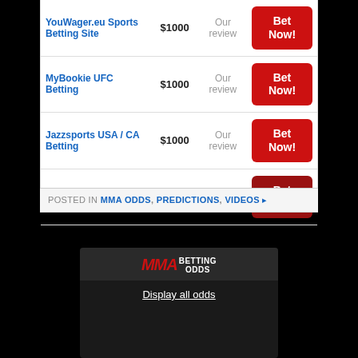| Site | Bonus | Review | Action |
| --- | --- | --- | --- |
| YouWager.eu Sports Betting Site | $1000 | Our review | Bet Now! |
| MyBookie UFC Betting | $1000 | Our review | Bet Now! |
| Jazzsports USA / CA Betting | $1000 | Our review | Bet Now! |
| BetUS - USA UFC Betting | $2500 | Our review | Bet Now! |
POSTED IN MMA ODDS, PREDICTIONS, VIDEOS ▸
[Figure (logo): MMA Betting Odds logo banner with 'Display all odds' link]